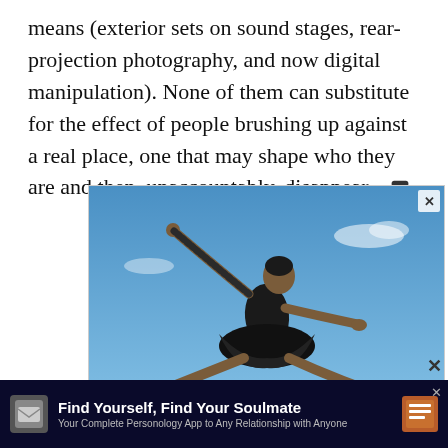means (exterior sets on sound stages, rear-projection photography, and now digital manipulation). None of them can substitute for the effect of people brushing up against a real place, one that may shape who they are and then, unaccountably, disappear. [end mark]
[Figure (photo): A Black female ballet dancer in a black tutu and bodysuit leaps against a blue sky background, arms outstretched in a split jump, wearing pointe shoes.]
[Figure (photo): Advertisement banner with dark navy background showing 'Find Yourself, Find Your Soulmate - Your Complete Personology App to Any Relationship with Anyone' with a small card icon on the left and a book/app icon on the right.]